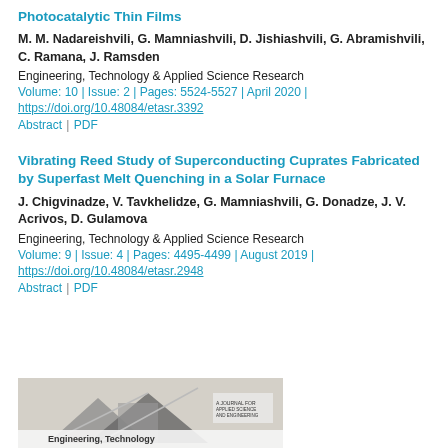Photocatalytic Thin Films
M. M. Nadareishvili, G. Mamniashvili, D. Jishiashvili, G. Abramishvili, C. Ramana, J. Ramsden
Engineering, Technology & Applied Science Research
Volume: 10 | Issue: 2 | Pages: 5524-5527 | April 2020 |
https://doi.org/10.48084/etasr.3392
Abstract | PDF
Vibrating Reed Study of Superconducting Cuprates Fabricated by Superfast Melt Quenching in a Solar Furnace
J. Chigvinadze, V. Tavkhelidze, G. Mamniashvili, G. Donadze, J. V. Acrivos, D. Gulamova
Engineering, Technology & Applied Science Research
Volume: 9 | Issue: 4 | Pages: 4495-4499 | August 2019 |
https://doi.org/10.48084/etasr.2948
Abstract | PDF
[Figure (photo): Cover image of Engineering, Technology & Applied Science Research journal showing a building/structure diagram with the journal title visible at the bottom.]